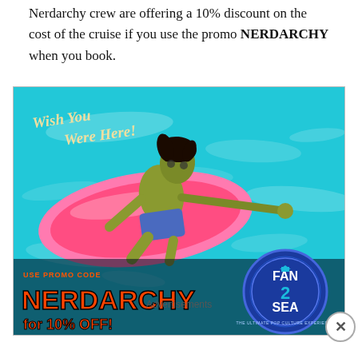Nerdarchy crew are offering a 10% discount on the cost of the cruise if you use the promo NERDARCHY when you book.
[Figure (illustration): Fan2Sea cruise advertisement banner featuring a zombie character lying on a pink pool float in turquoise water, with text 'Wish You Were Here!', promo code NERDARCHY for 10% OFF, and the Fan2Sea logo badge.]
Advertisements